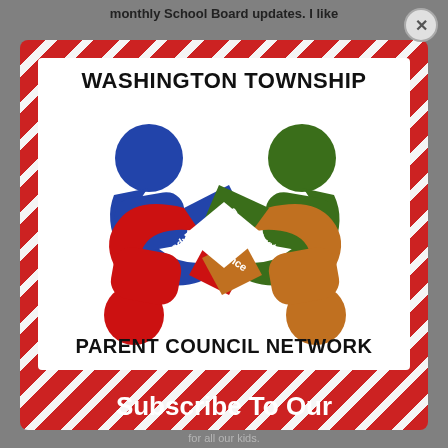monthly School Board updates. I like
[Figure (logo): Washington Township Parent Council Network logo with four interlocking colored figures (blue, green, red, orange) forming a connected design, with words: inform, collaborate, advocate, influence in the center]
Subscribe To Our
for all our kids.